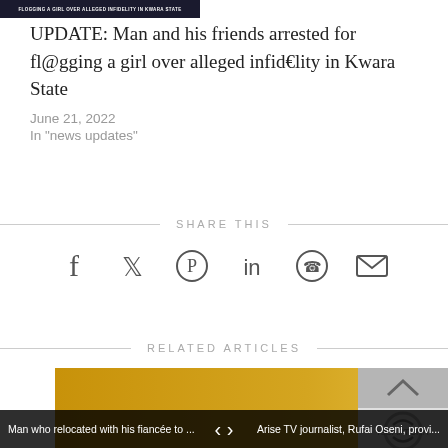[Figure (photo): Dark banner image with white text reading FLOGGING A GIRL OVER ALLEGED INFIDELITY IN KWARA STATE]
UPDATE: Man and his friends arrested for fl@gging a girl over alleged infid€lity in Kwara State
June 21, 2022
In "news updates"
SHARE THIS
[Figure (infographic): Social sharing icons: Facebook, Twitter, Pinterest, LinkedIn, WhatsApp, Email]
RELATED ARTICLES
[Figure (photo): Related article thumbnail showing a bearded man with glasses against a yellow background]
Man who relocated with his fiancée to ... < > Arise TV journalist, Rufai Oseni, provi...